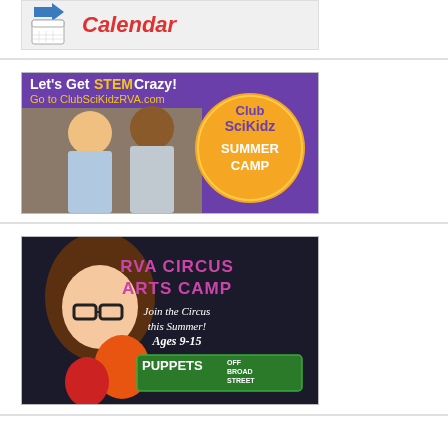[Figure (illustration): Calendar banner ad with a blue arrow/calendar icon on the left and the word 'Calendar' in red italic script on a light gray background]
[Figure (illustration): Club SciKidz Summer Camp advertisement on purple background. Text reads 'Let's Get STEM Crazy! Go to ClubSciKidzRVA.com' with two smiling children and an orange circular badge reading 'Club SciKidz SUMMER CAMP']
[Figure (illustration): RVA Circus Arts Camp advertisement showing a girl with glasses blowing up a balloon against a dark background. Text reads 'RVA CIRCUS ARTS CAMP Join the Circus this Summer! Ages 9-15' and a green rectangle logo reading 'PUPPETS OFF BROAD STREET']